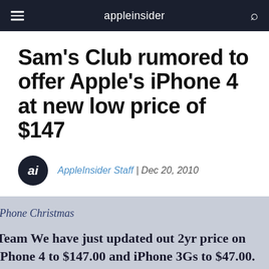appleinsider
Sam's Club rumored to offer Apple's iPhone 4 at new low price of $147
AppleInsider Staff | Dec 20, 2010
[Figure (screenshot): Screenshot of internal memo titled 'iPhone Christmas' stating: 'Team We have just updated out 2yr price on iPhone 4 to $147.00 and iPhone 3Gs to $47.00. We will be']